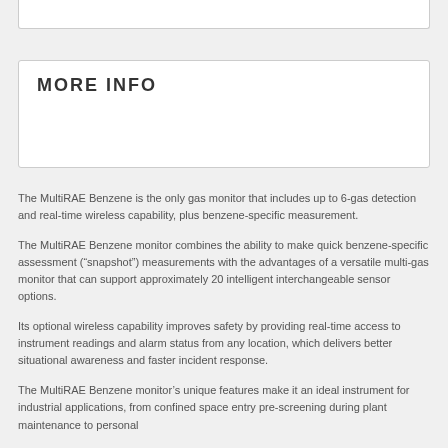MORE INFO
The MultiRAE Benzene is the only gas monitor that includes up to 6-gas detection and real-time wireless capability, plus benzene-specific measurement.
The MultiRAE Benzene monitor combines the ability to make quick benzene-specific assessment (“snapshot”) measurements with the advantages of a versatile multi-gas monitor that can support approximately 20 intelligent interchangeable sensor options.
Its optional wireless capability improves safety by providing real-time access to instrument readings and alarm status from any location, which delivers better situational awareness and faster incident response.
The MultiRAE Benzene monitor’s unique features make it an ideal instrument for industrial applications, from confined space entry pre-screening during plant maintenance to personal